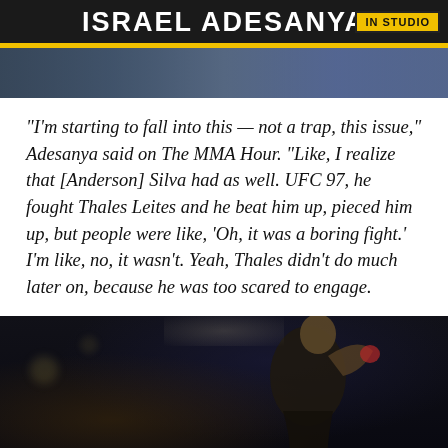ISRAEL ADESANYA
IN STUDIO
[Figure (photo): Header image with background scene]
“I’m starting to fall into this — not a trap, this issue,” Adesanya said on The MMA Hour. “Like, I realize that [Anderson] Silva had as well. UFC 97, he fought Thales Leites and he beat him up, pieced him up, but people were like, ‘Oh, it was a boring fight.’ I’m like, no, it wasn’t. Yeah, Thales didn’t do much later on, because he was too scared to engage.
[Figure (photo): MMA fighter in fighting stance under arena lights]
[Figure (photo): PARIPESA advertisement banner with logo and woman]